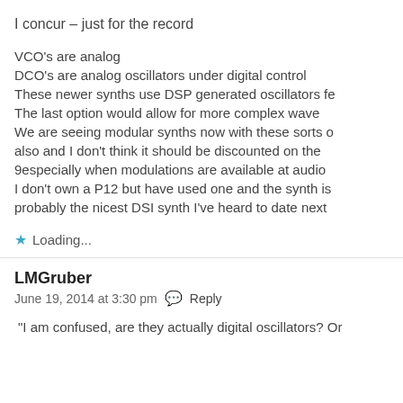I concur – just for the record
VCO's are analog
DCO's are analog oscillators under digital control
These newer synths use DSP generated oscillators fe
The last option would allow for more complex wave
We are seeing modular synths now with these sorts o
also and I don't think it should be discounted on the
9especially when modulations are available at audio
I don't own a P12 but have used one and the synth is
probably the nicest DSI synth I've heard to date next
Loading...
LMGruber
June 19, 2014 at 3:30 pm  Reply
"I am confused, are they actually digital oscillators? Or